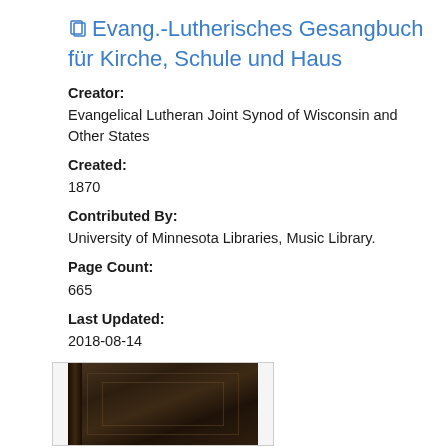Evang.-Lutherisches Gesangbuch für Kirche, Schule und Haus
Creator:
Evangelical Lutheran Joint Synod of Wisconsin and Other States
Created:
1870
Contributed By:
University of Minnesota Libraries, Music Library.
Page Count:
665
Last Updated:
2018-08-14
[Figure (photo): Dark brown embossed book cover of the Gesangbuch, showing decorative relief design on the front cover with a spine visible on the left side.]